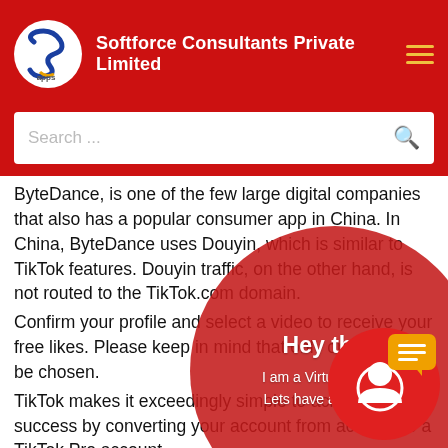Softforce Consultants Private Limited
Search ...
ByteDance, is one of the few large digital companies that also has a popular consumer app in China. In China, ByteDance uses Douyin, which is similar to TikTok features. Douyin traffic, on the other hand, is not routed to the TikTok.com domain.
Confirm your profile and select a video to receive your free likes. Please keep in mind that only one post may be chosen.
TikTok makes it exceedingly simple to achieve success by converting your account from account to a TikTok Pro account.
Free Tiktok Followers Buy
Why Do TikTok Followers and Likes Mo
She can see how short-sighted her ki
[Figure (infographic): Red circle overlay with chat assistant popup showing 'Hey there I am a Virtual Assistant. Lets have a quick chat.' text, and a chat widget circle in bottom-right with avatar icon and speech bubble.]